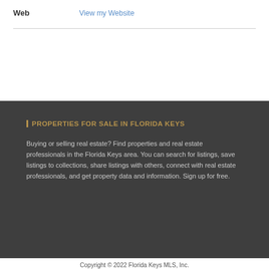Web   View my Website
PROPERTIES FOR SALE IN FLORIDA KEYS
Buying or selling real estate? Find properties and real estate professionals in the Florida Keys area. You can search for listings, save listings to collections, share listings with others, connect with real estate professionals, and get property data and information. Sign up for free.
Copyright © 2022 Florida Keys MLS, Inc.